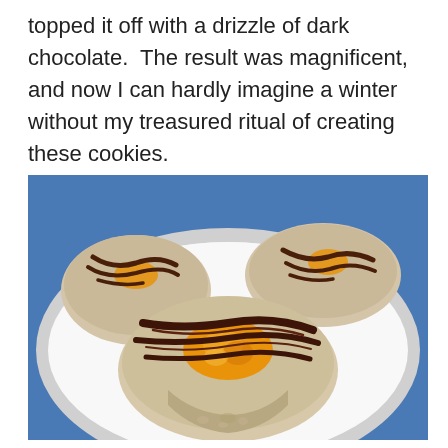topped it off with a drizzle of dark chocolate.  The result was magnificent, and now I can hardly imagine a winter without my treasured ritual of creating these cookies.
[Figure (photo): Three round cookies topped with drizzled dark chocolate and filled with orange/apricot jam, served on a white plate with a blue rim. The front cookie is bitten in half revealing the jam filling inside.]